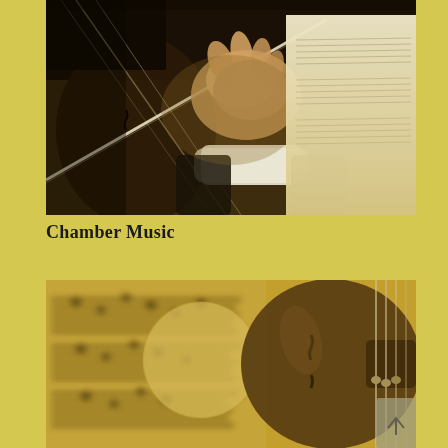[Figure (photo): Sepia-toned close-up photograph of a musician's hand holding a violin bow, playing a violin. Sheet music is visible in the background on the right side.]
Chamber Music
[Figure (photo): Sepia-toned close-up photograph of a violin body and f-hole with blurred sheet music visible in the background/foreground on the left.]